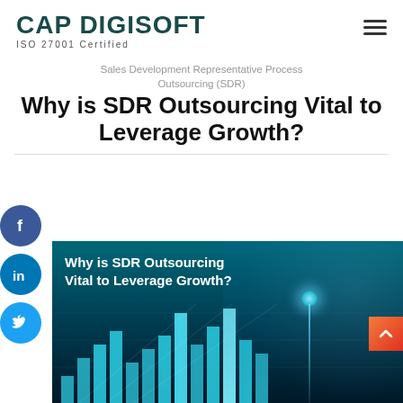CAP DIGISOFT — ISO 27001 Certified
Sales Development Representative Process Outsourcing (SDR)
Why is SDR Outsourcing Vital to Leverage Growth?
[Figure (illustration): Promotional banner image showing a bar chart with glowing blue bars and a hand pointing at the chart with text overlay: Why is SDR Outsourcing Vital to Leverage Growth?]